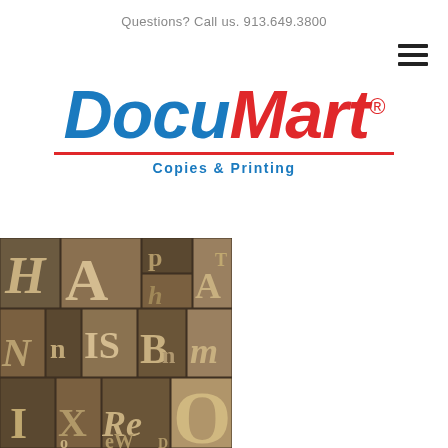Questions? Call us. 913.649.3800
[Figure (logo): DocuMart Copies & Printing logo with blue italic 'Docu' and red italic 'Mart' text, red horizontal rule, blue tagline 'Copies & Printing']
[Figure (photo): Close-up photo of vintage metal letterpress type blocks showing various letters including H, A, p, h, N, n, IS, B, n, m, O, X, Re, W, D arranged in a mosaic pattern]